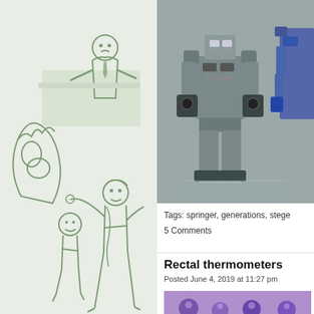[Figure (illustration): Green-tinted comic illustration of a boss standing at a desk while chaotic figures (monster, people) react below]
[Figure (photo): Close-up photo of transformer robot action figures in grey/blue colors]
Tags: springer, generations, stege
5 Comments
Rectal thermometers
Posted June 4, 2019 at 11:27 pm
[Figure (photo): Partial photo at bottom showing purple/blue objects]